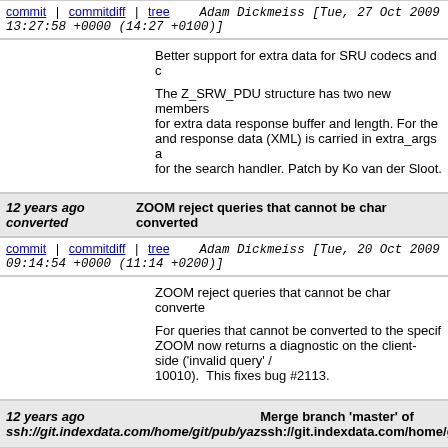commit | commitdiff | tree   Adam Dickmeiss [Tue, 27 Oct 2009 13:27:58 +0000 (14:27 +0100)]
Better support for extra data for SRU codecs and ...

The Z_SRW_PDU structure has two new members for extra data response buffer and length. For the ... and response data (XML) is carried in extra_args ... for the search handler. Patch by Ko van der Sloot.
12 years ago   ZOOM reject queries that cannot be char converted
commit | commitdiff | tree   Adam Dickmeiss [Tue, 20 Oct 2009 09:14:54 +0000 (11:14 +0200)]
ZOOM reject queries that cannot be char converte...

For queries that cannot be converted to the specif... ZOOM now returns a diagnostic on the client-side ('invalid query' / 10010).  This fixes bug #2113.
12 years ago   Merge branch 'master' of ssh://git.indexdata.com/home/git/pub/yaz
commit | commitdiff | tree   Adam Dickmeiss [Thu, 15 Oct 2009 11:07:36 +0000 (13:07 +0200)]